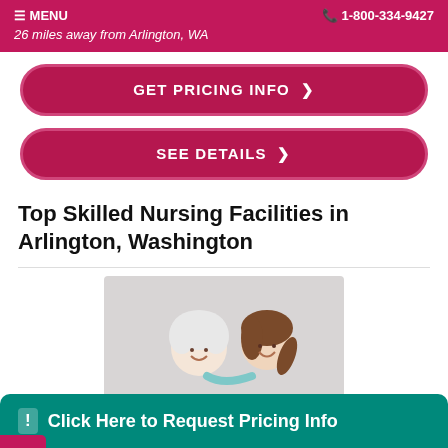MENU   1-800-334-9427
26 miles away from Arlington, WA
GET PRICING INFO >
SEE DETAILS >
Top Skilled Nursing Facilities in Arlington, Washington
[Figure (photo): Elderly woman and young female nurse smiling together, nurse wearing blue scrubs with arm around senior patient]
Click Here to Request Pricing Info